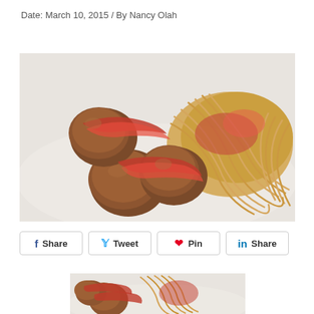Date: March 10, 2015 / By Nancy Olah
[Figure (photo): Photo of spaghetti and meatballs with tomato sauce on a white plate, close-up view]
Share  Tweet  Pin  Share
[Figure (photo): Second smaller photo of spaghetti and meatballs with tomato sauce, partially visible]